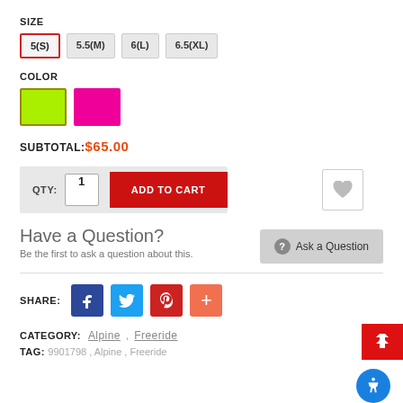SIZE
5(S) [selected], 5.5(M), 6(L), 6.5(XL)
COLOR
[Figure (other): Two color swatches: neon green (selected) and hot pink]
SUBTOTAL: $65.00
QTY: 1  ADD TO CART  [wishlist heart button]
Have a Question?
Be the first to ask a question about this.
Ask a Question [button]
SHARE: [Facebook] [Twitter] [Pinterest] [+]
CATEGORY: Alpine , Freeride
TAG: 9901798 , Alpine , Freeride